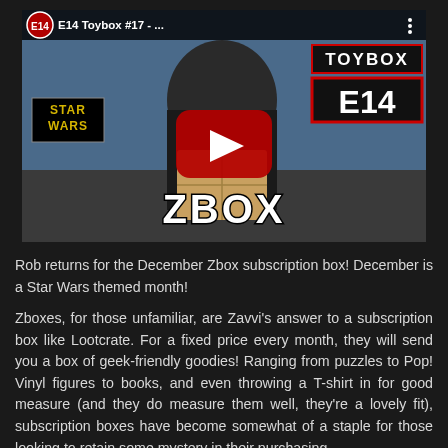[Figure (screenshot): YouTube video thumbnail/player showing E14 Toybox #17 video. Features a man holding a ZBOX subscription box, Star Wars logo in bottom-left, TOYBOX E14 logo in top-right, and a YouTube play button in the center.]
Rob returns for the December Zbox subscription box! December is a Star Wars themed month!
Zboxes, for those unfamiliar, are Zavvi's answer to a subscription box like Lootcrate. For a fixed price every month, they will send you a box of geek-friendly goodies! Ranging from puzzles to Pop! Vinyl figures to books, and even throwing a T-shirt in for good measure (and they do measure them well, they're a lovely fit), subscription boxes have become somewhat of a staple for those looking to retain some mystery in their purchasing.